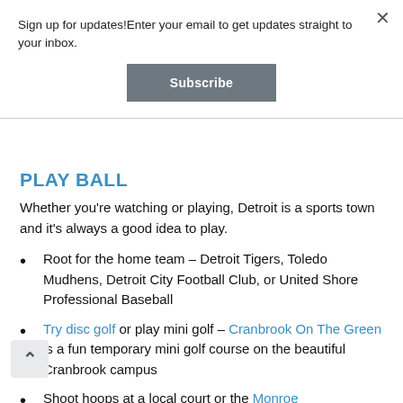Sign up for updates!Enter your email to get updates straight to your inbox.
Subscribe
PLAY BALL
Whether you're watching or playing, Detroit is a sports town and it's always a good idea to play.
Root for the home team – Detroit Tigers, Toledo Mudhens, Detroit City Football Club, or United Shore Professional Baseball
Try disc golf or play mini golf – Cranbrook On The Green is a fun temporary mini golf course on the beautiful Cranbrook campus
Shoot hoops at a local court or the Monroe